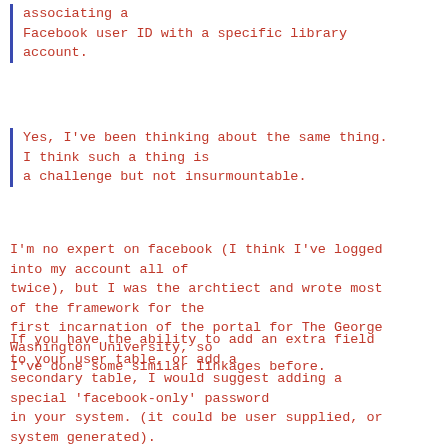associating a Facebook user ID with a specific library account.
Yes, I've been thinking about the same thing. I think such a thing is a challenge but not insurmountable.
I'm no expert on facebook (I think I've logged into my account all of twice), but I was the archtiect and wrote most of the framework for the first incarnation of the portal for The George Washington University, so I've done some similar linkages before.
If you have the ability to add an extra field to your user table, or add a secondary table, I would suggest adding a special 'facebook-only' password in your system.  (it could be user supplied, or system generated).